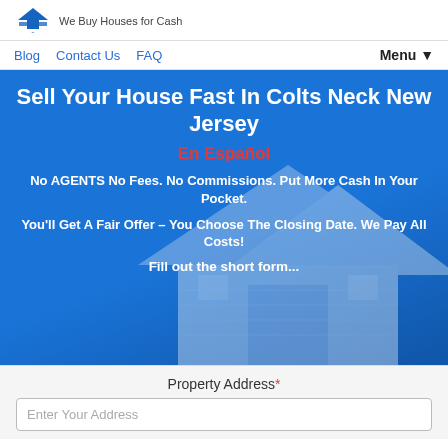We Buy Houses for Cash
Blog
Contact Us
FAQ
Menu ▼
Sell Your House Fast In Colts Neck New Jersey
En Español
No AGENTS No Fees. No Commissions. Put More Cash In Your Pocket.
You'll Get A Fair Offer – You Choose The Closing Date. We Pay All Costs!
Fill out the short form...
Property Address*
Enter Your Address